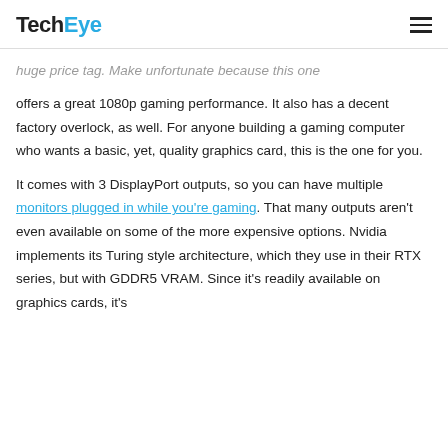TechEye
huge price tag. Make unfortunate because this one offers a great 1080p gaming performance. It also has a decent factory overlock, as well. For anyone building a gaming computer who wants a basic, yet, quality graphics card, this is the one for you.

It comes with 3 DisplayPort outputs, so you can have multiple monitors plugged in while you're gaming. That many outputs aren't even available on some of the more expensive options. Nvidia implements its Turing style architecture, which they use in their RTX series, but with GDDR5 VRAM. Since it's readily available on graphics cards, it's